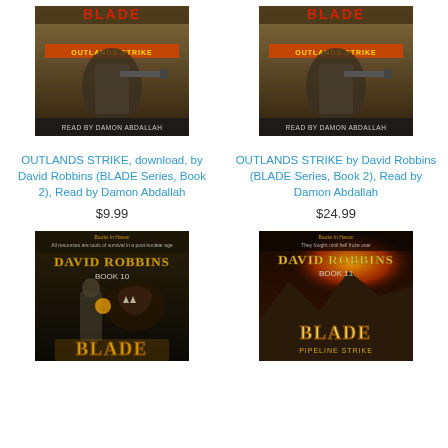[Figure (photo): Book cover: BLADE OUTLANDS STRIKE audiobook, soldier with rifle, 'Read by Damon Abdallah']
OUTLANDS STRIKE, download, by David Robbins (BLADE Series, Book 2), Read by Damon Abdallah
$9.99
[Figure (photo): Book cover: BLADE OUTLANDS STRIKE audiobook, soldier with rifle, 'Read by Damon Abdallah']
OUTLANDS STRIKE by David Robbins (BLADE Series, Book 2), Read by Damon Abdallah
$24.99
[Figure (photo): Book cover: BLADE by David Robbins Book 10, soldier with weapon and creature]
[Figure (photo): Book cover: BLADE PIPELINE STRIKE by David Robbins Book 11, explosion and mountains]